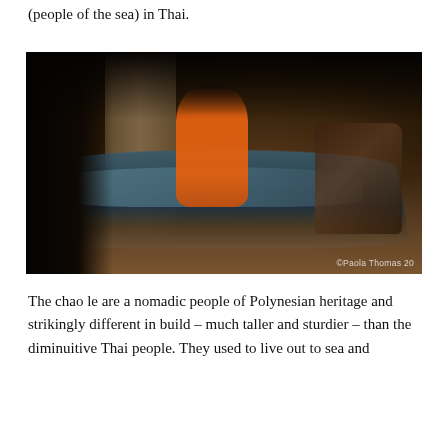(people of the sea) in Thai.
[Figure (photo): A child in an orange outfit sits atop a large wooden boat indoors. The scene is dimly lit with a stone/concrete wall in the background and gravel floor. Other people are visible in the background on the right. A watermark reads '©Paola Thomas 20'.]
©Paola Thomas 20
The chao le are a nomadic people of Polynesian heritage and strikingly different in build – much taller and sturdier – than the diminuitive Thai people. They used to live out to sea and